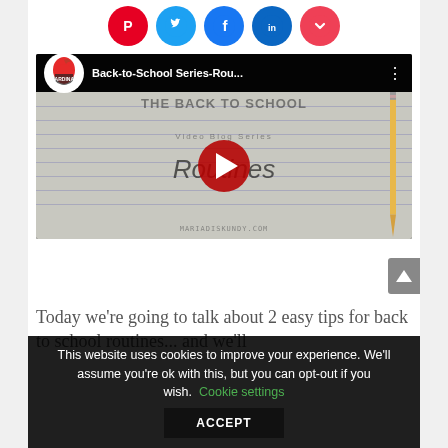[Figure (other): Row of five social sharing circular buttons: Pinterest (red), Twitter (blue), Facebook (blue), LinkedIn (dark blue), Pocket (red-pink)]
[Figure (screenshot): YouTube video thumbnail for 'Back-to-School Series-Rou...' by Cardinal Rule Press, showing lined paper background with text 'Routines', a pencil on the right, and a red play button in the center. Bottom text: mariadisrundy.com]
Today we're going to talk about 2 easy tips for back to school routines... and we'll
This website uses cookies to improve your experience. We'll assume you're ok with this, but you can opt-out if you wish. Cookie settings
ACCEPT